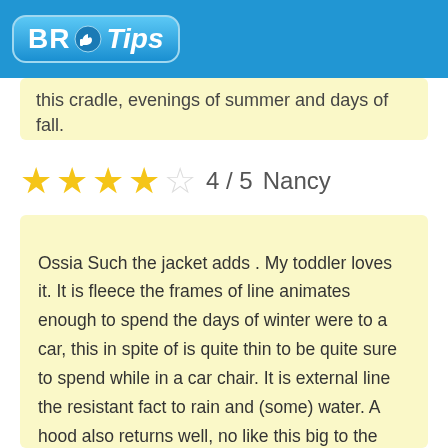BR Tips
this cradle, evenings of summer and days of fall.
4 / 5   Nancy
Ossia Such the jacket adds . My toddler loves it. It is fleece the frames of line animates enough to spend the days of winter were to a car, this in spite of is quite thin to be quite sure to spend while in a car chair. It is external line the resistant fact to rain and (some) water. A hood also returns well, no like this big to the equal that to restrict a kiddo view, is lined also, which is well in of the days forget his hat. He spends it anywhere of 25